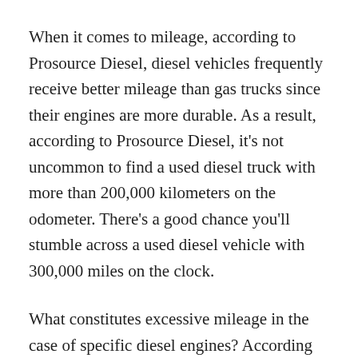When it comes to mileage, according to Prosource Diesel, diesel vehicles frequently receive better mileage than gas trucks since their engines are more durable. As a result, according to Prosource Diesel, it's not uncommon to find a used diesel truck with more than 200,000 kilometers on the odometer. There's a good chance you'll stumble across a used diesel vehicle with 300,000 miles on the clock.
What constitutes excessive mileage in the case of specific diesel engines? According to Prosource Diesel, a secondhand diesel truck with a Cummins or Duramax engine with more than 350,000